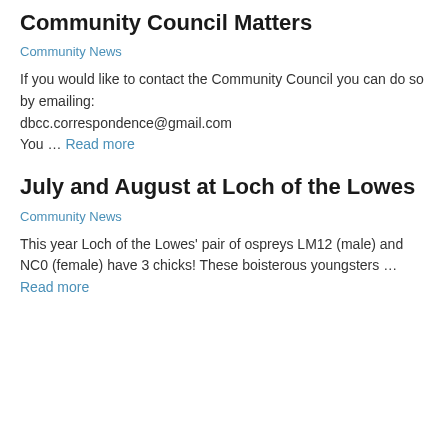Community Council Matters
Community News
If you would like to contact the Community Council you can do so by emailing: dbcc.correspondence@gmail.com You … Read more
July and August at Loch of the Lowes
Community News
This year Loch of the Lowes' pair of ospreys LM12 (male) and NC0 (female) have 3 chicks! These boisterous youngsters … Read more